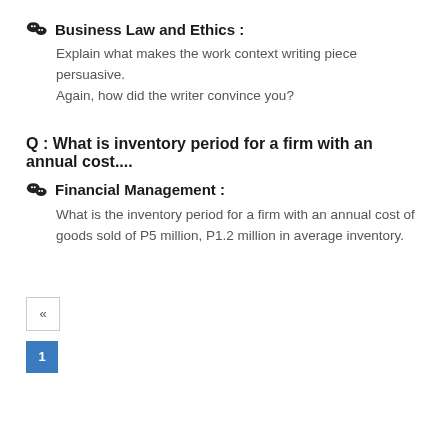Business Law and Ethics :
Explain what makes the work context writing piece persuasive. Again, how did the writer convince you?
Q : What is inventory period for a firm with an annual cost....
Financial Management :
What is the inventory period for a firm with an annual cost of goods sold of P5 million, P1.2 million in average inventory.